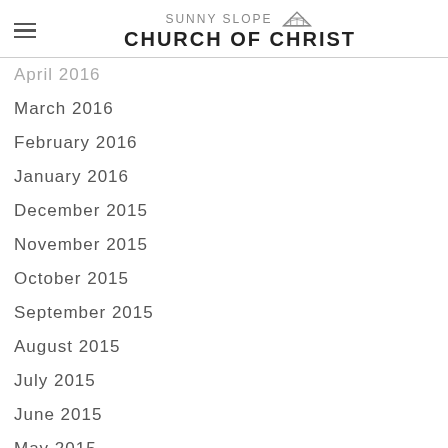Sunny Slope Church of Christ
April 2016
March 2016
February 2016
January 2016
December 2015
November 2015
October 2015
September 2015
August 2015
July 2015
June 2015
May 2015
April 2015